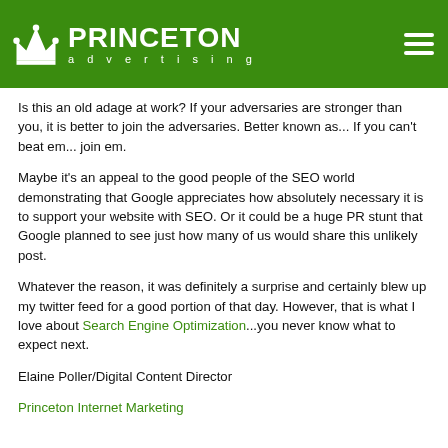Princeton Advertising
Is this an old adage at work? If your adversaries are stronger than you, it is better to join the adversaries. Better known as... If you can't beat em... join em.
Maybe it's an appeal to the good people of the SEO world demonstrating that Google appreciates how absolutely necessary it is to support your website with SEO. Or it could be a huge PR stunt that Google planned to see just how many of us would share this unlikely post.
Whatever the reason, it was definitely a surprise and certainly blew up my twitter feed for a good portion of that day. However, that is what I love about Search Engine Optimization...you never know what to expect next.
Elaine Poller/Digital Content Director
Princeton Internet Marketing